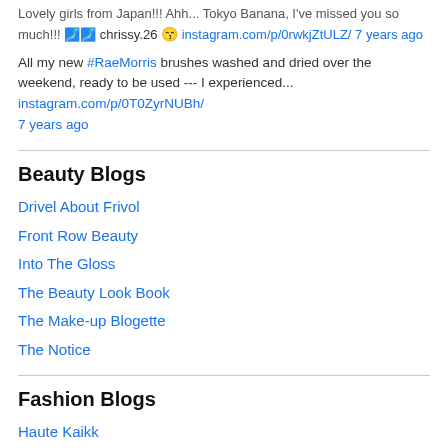Lovely girls from Japan!!! Ahh... Tokyo Banana, I've missed you so much!!! 🗾🗾 chrissy.26 😙 instagram.com/p/0rwkjZtULZ/ 7 years ago
All my new #RaeMorris brushes washed and dried over the weekend, ready to be used --- I experienced... instagram.com/p/0T0ZyrNUBh/ 7 years ago
Beauty Blogs
Drivel About Frivol
Front Row Beauty
Into The Gloss
The Beauty Look Book
The Make-up Blogette
The Notice
Fashion Blogs
Haute Kaikk